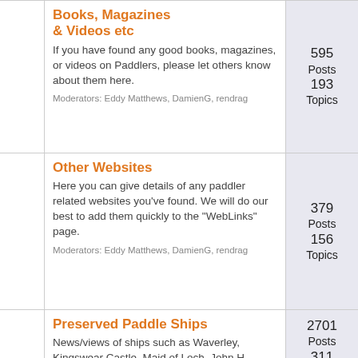Books, Magazines & Videos etc
If you have found any good books, magazines, or videos on Paddlers, please let others know about them here.
Moderators: Eddy Matthews, DamienG, rendrag
595 Posts 193 Topics
Other Websites
Here you can give details of any paddler related websites you've found. We will do our best to add them quickly to the "WebLinks" page.
Moderators: Eddy Matthews, DamienG, rendrag
379 Posts 156 Topics
Preserved Paddle Ships
News/views of ships such as Waverley, Kingswear Castle, Maid of Loch, John H Amos, and any other
2701 Posts 311 Topics